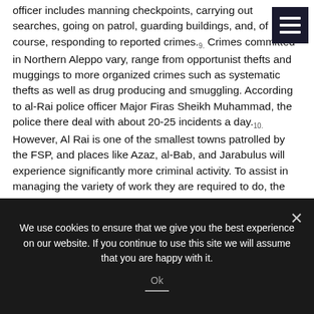officer includes manning checkpoints, carrying out searches, going on patrol, guarding buildings, and, of course, responding to reported crimes.9. Crimes committed in Northern Aleppo vary, range from opportunist thefts and muggings to more organized crimes such as systematic thefts as well as drug producing and smuggling. According to al-Rai police officer Major Firas Sheikh Muhammad, the police there deal with about 20-25 incidents a day.10. However, Al Rai is one of the smallest towns patrolled by the FSP, and places like Azaz, al-Bab, and Jarabulus will experience significantly more criminal activity. To assist in managing the variety of work they are required to do, the police are split into several different sections. This includes dedicated traffic police, a rapid response force, special forces, a drug force, and counter-terrorism police. Officers in many of those sections will receive extra training to ensure they are best suited for their role. One of the areas in which the FSP have received more specialized
We use cookies to ensure that we give you the best experience on our website. If you continue to use this site we will assume that you are happy with it. Ok